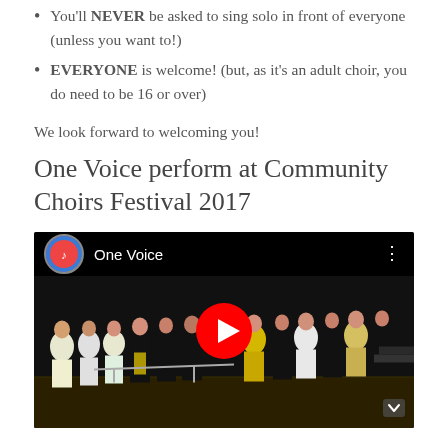You'll NEVER be asked to sing solo in front of everyone (unless you want to!)
EVERYONE is welcome! (but, as it's an adult choir, you do need to be 16 or over)
We look forward to welcoming you!
One Voice perform at Community Choirs Festival 2017
[Figure (screenshot): Embedded YouTube video thumbnail showing a choir group on stage wearing black and yellow outfits, with a YouTube play button overlay and 'One Voice' as the video title]